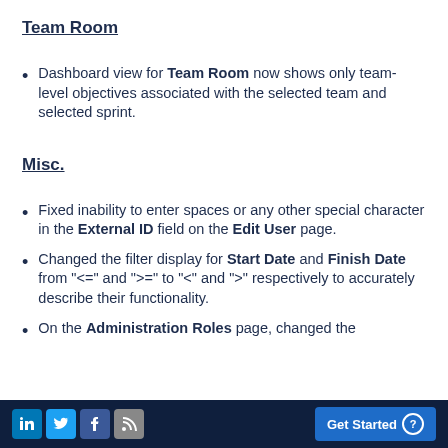Team Room
Dashboard view for Team Room now shows only team-level objectives associated with the selected team and selected sprint.
Misc.
Fixed inability to enter spaces or any other special character in the External ID field on the Edit User page.
Changed the filter display for Start Date and Finish Date from "<=" and ">=" to "<" and ">" respectively to accurately describe their functionality.
On the Administration Roles page, changed the
LinkedIn Twitter Facebook RSS   Get Started